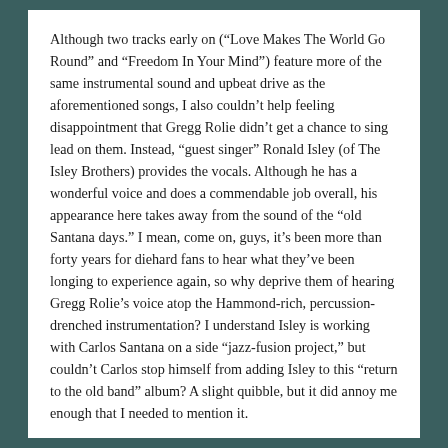Although two tracks early on (“Love Makes The World Go Round” and “Freedom In Your Mind”) feature more of the same instrumental sound and upbeat drive as the aforementioned songs, I also couldn’t help feeling disappointment that Gregg Rolie didn’t get a chance to sing lead on them. Instead, “guest singer” Ronald Isley (of The Isley Brothers) provides the vocals. Although he has a wonderful voice and does a commendable job overall, his appearance here takes away from the sound of the “old Santana days.” I mean, come on, guys, it’s been more than forty years for diehard fans to hear what they’ve been longing to experience again, so why deprive them of hearing Gregg Rolie’s voice atop the Hammond-rich, percussion-drenched instrumentation? I understand Isley is working with Carlos Santana on a side “jazz-fusion project,” but couldn’t Carlos stop himself from adding Isley to this “return to the old band” album? A slight quibble, but it did annoy me enough that I needed to mention it.